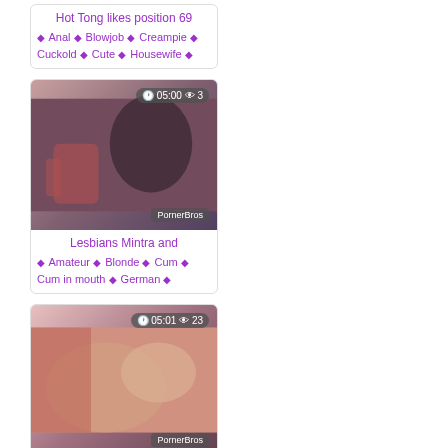Hot Tong likes position 69 ♦ Anal ♦ Blowjob ♦ Creampie ♦ Cuckold ♦ Cute ♦ Housewife ♦
[Figure (photo): Video thumbnail showing adult content, duration 05:00, 3 views, PornerBros watermark]
Lesbians Mintra and ♦ Amateur ♦ Blonde ♦ Cum ♦ Cum in mouth ♦ German ♦
[Figure (photo): Video thumbnail showing adult content, duration 05:01, 23 views, PornerBros watermark]